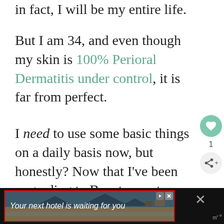in fact, I will be my entire life.
But I am 34, and even though my skin is 100% Perioral Dermatitis under control, it is far from perfect.
I need to use some basic things on a daily basis now, but honestly? Now that I've been upgrading to Beautycounter and replacing all my old stuff, I feel excited about
[Figure (screenshot): Advertisement banner: dark background with hotel image, text 'Your next hotel is waiting for you' in italic white, red border, play and close button controls]
[Figure (infographic): Right sidebar with teal heart button, number 1, and share button]